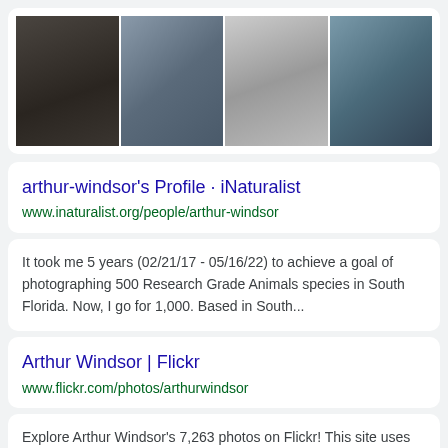[Figure (photo): Strip of four portrait photos of men named Arthur Windsor]
arthur-windsor's Profile · iNaturalist
www.inaturalist.org/people/arthur-windsor
It took me 5 years (02/21/17 - 05/16/22) to achieve a goal of photographing 500 Research Grade Animals species in South Florida. Now, I go for 1,000. Based in South...
Arthur Windsor | Flickr
www.flickr.com/photos/arthurwindsor
Explore Arthur Windsor's 7,263 photos on Flickr! This site uses cookies to improve your experience and to help show content that is more relevant to your interests.